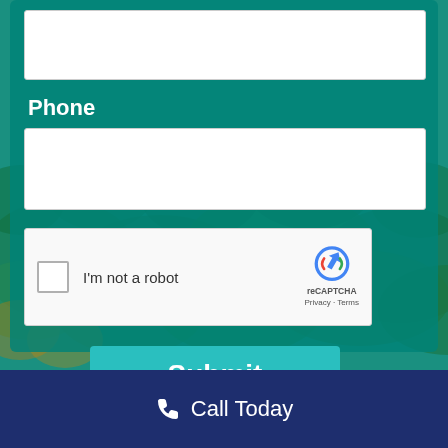[Figure (screenshot): Teal/forest background with form panel showing a partially visible top input field]
Phone
[Figure (screenshot): Phone input text field (empty)]
[Figure (screenshot): reCAPTCHA widget with checkbox labeled I'm not a robot and Google reCAPTCHA logo with Privacy and Terms links]
Submit
Call Today